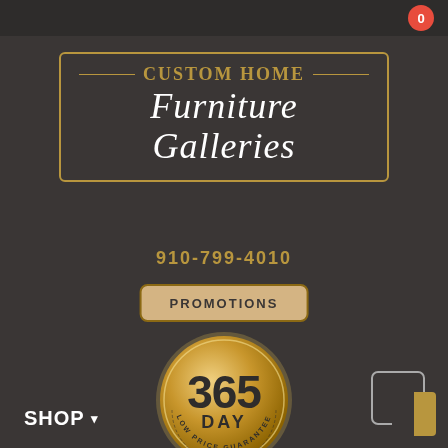0
[Figure (logo): Custom Home Furniture Galleries logo in gold and white on dark background with decorative border]
910-799-4010
PROMOTIONS
[Figure (illustration): Gold circular badge reading '365 DAY LOW PRICE GUARANTEE']
SHOP ▾